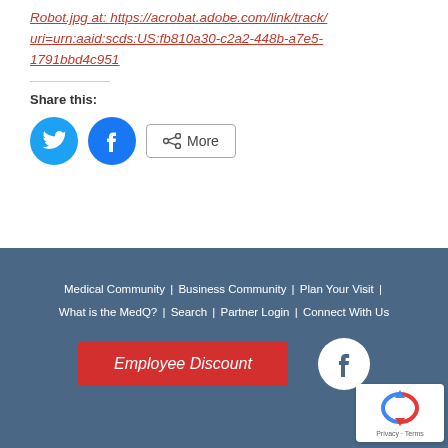Robot.jpg at: https://acrobat.adobe.com/link/track?uri=urn:aaid:scds:US:fb810a30-c2a2-448b-a7e5-1791bbd4c951
Share this:
[Figure (other): Social share buttons: Twitter (blue circle with bird icon), Facebook (blue circle with f icon), and a More button with share icon]
Medical Community | Business Community | Plan Your Visit | What is the MedQ? | Search | Partner Login | Connect With Us
[Figure (other): Employee Discount red button and Facebook white circle icon in footer]
[Figure (other): reCAPTCHA badge: Privacy · Terms]